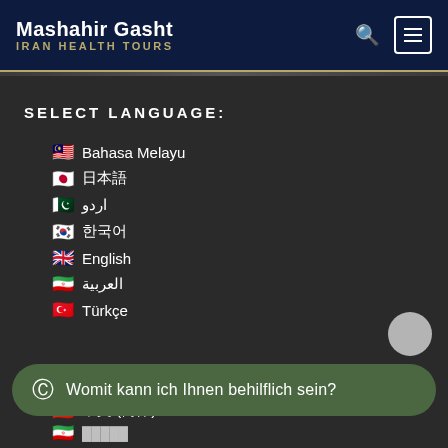Mashahir Gasht IRAN HEALTH TOURS
SELECT LANGUAGE:
🇲🇾 Bahasa Melayu
🇯🇵 日本語
🇵🇰 اردو
🇰🇷 한국어
🇬🇧 English
🇮🇷 العربية
🇹🇷 Türkçe
Womit kann ich Ihnen behilflich sein?
🇨🇳 中文 (简体)
🇮🇷 فارسی